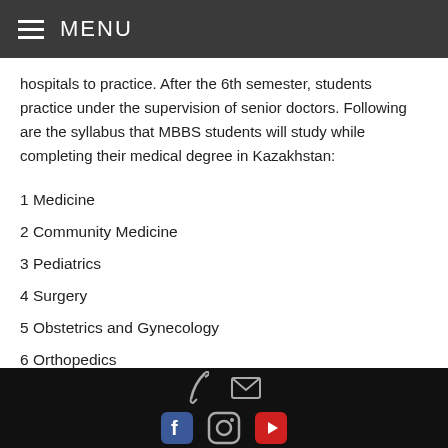MENU
hospitals to practice. After the 6th semester, students practice under the supervision of senior doctors. Following are the syllabus that MBBS students will study while completing their medical degree in Kazakhstan:
1 Medicine
2 Community Medicine
3 Pediatrics
4 Surgery
5 Obstetrics and Gynecology
6 Orthopedics
7 Radiology
8 Ophthalmology
Social media icons and contact icons